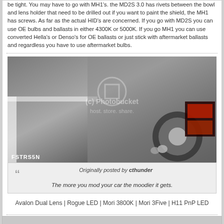be tight. You may have to go with MH1's. the MD2S 3.0 has rivets between the bowl and lens holder that need to be drilled out if you want to paint the shield, the MH1 has screws. As far as the actual HID's are concerned. If you go with MD2S you can use OE bulbs and ballasts in either 4300K or 5000K. If you go MH1 you can use converted Hella's or Denso's for OE ballasts or just stick with aftermarket ballasts and regardless you have to use aftermarket bulbs.
[Figure (photo): Close-up photo of a car's rear quarter panel and wheel area, showing chrome exhaust tips and a taillamp, with a Photobucket watermark. Caption area shows FSTRS5N label.]
Originally posted by cthunder
The more you mod your car the moodier it gets.
Avalon Dual Lens | Rogue LED | Mori 3800K | Mori 3Five | H11 PnP LED